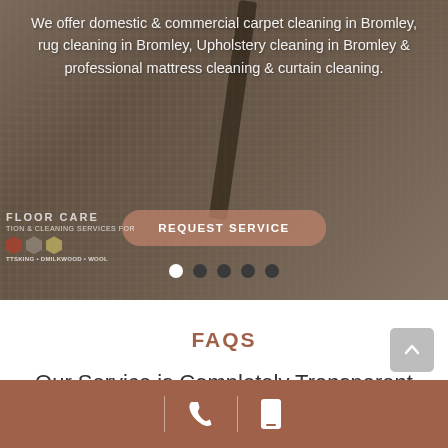[Figure (photo): Hero section with carpet cleaning background image showing a vacuum or cleaning tool on carpet. White text describes services offered in Bromley. A 'REQUEST SERVICE' button is shown. Below the image is a logo for Floor Care Cleaning Services and navigation dots.]
FAQS
Our Service is Completely Transparent
[Figure (other): Back to top arrow button (grey rounded square with upward chevron)]
Footer bar with phone icon and mobile icon separated by dividers